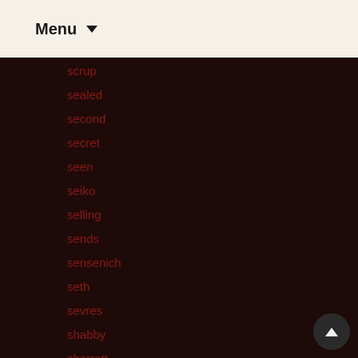Menu
scrup
sealed
second
secret
seen
seiko
selling
sends
sensenich
seth
sevres
shabby
sharratt
shepard